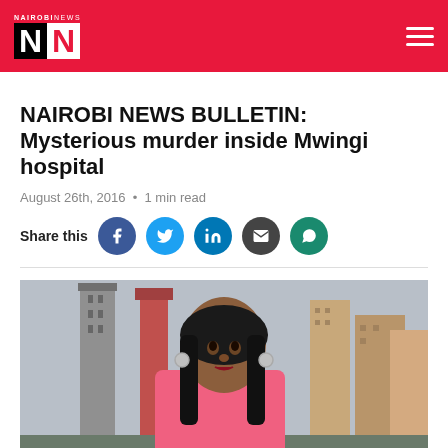NAIROBI NEWS NN
NAIROBI NEWS BULLETIN: Mysterious murder inside Mwingi hospital
August 26th, 2016 • 1 min read
Share this
[Figure (photo): Female news anchor in pink blazer presenting in front of a Nairobi city skyline backdrop]